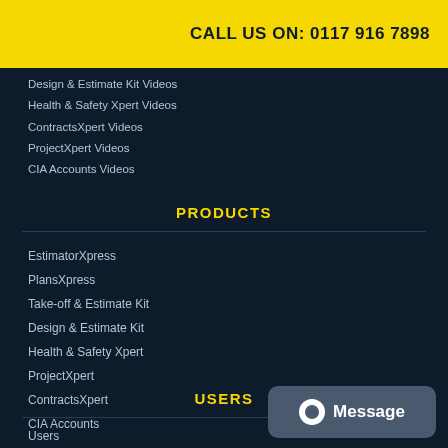CALL US ON: 0117 916 7898
Design & Estimate Kit Videos
Health & Safety Xpert Videos
ContractsXpert Videos
ProjectXpert Videos
CIA Accounts Videos
PRODUCTS
EstimatorXpress
PlansXpress
Take-off & Estimate Kit
Design & Estimate Kit
Health & Safety Xpert
ProjectXpert
ContractsXpert
CIA Accounts
USERS
Users
[Figure (other): Message chat button with alien/chat icon]